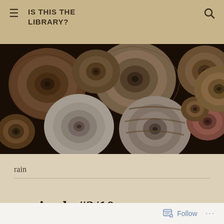IS THIS THE LIBRARY?
[Figure (photo): Close-up photograph of multiple snail shells of various sizes, colors (brown, white, grey, striped), densely packed together on a dark background.]
rain
gratitude #2/10
Follow